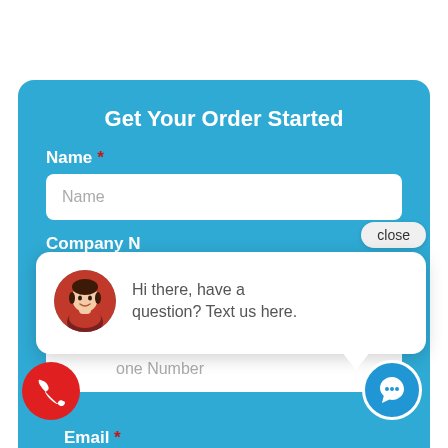Get Your Order Started
Name *
Name
close
Company N
Company
Hi there, have a question? Text us here.
Phone Number *
one Number
Email *